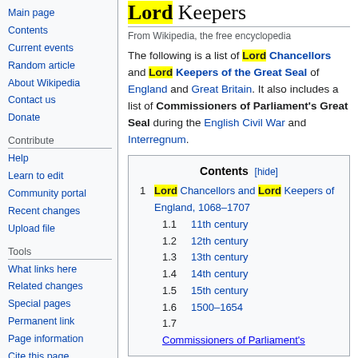Main page
Contents
Current events
Random article
About Wikipedia
Contact us
Donate
Contribute
Help
Learn to edit
Community portal
Recent changes
Upload file
Tools
What links here
Related changes
Special pages
Permanent link
Page information
Cite this page
Wikidata item
Lord Keepers
From Wikipedia, the free encyclopedia
The following is a list of Lord Chancellors and Lord Keepers of the Great Seal of England and Great Britain. It also includes a list of Commissioners of Parliament's Great Seal during the English Civil War and Interregnum.
| Contents [hide] |
| --- |
| 1 Lord Chancellors and Lord Keepers of England, 1068–1707 |
| 1.1 11th century |
| 1.2 12th century |
| 1.3 13th century |
| 1.4 14th century |
| 1.5 15th century |
| 1.6 1500–1654 |
| 1.7 |
| Commissioners of Parliament's |